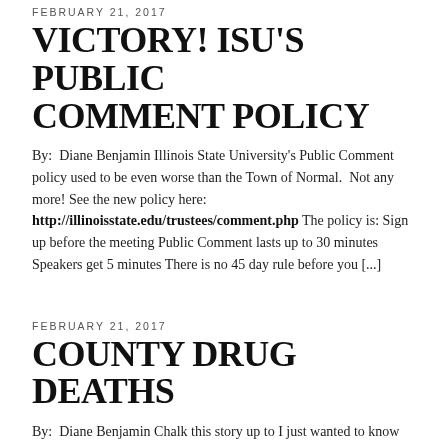FEBRUARY 21, 2017
VICTORY! ISU'S PUBLIC COMMENT POLICY
By:  Diane Benjamin Illinois State University's Public Comment policy used to be even worse than the Town of Normal.  Not any more! See the new policy here: http://illinoisstate.edu/trustees/comment.php The policy is: Sign up before the meeting Public Comment lasts up to 30 minutes Speakers get 5 minutes There is no 45 day rule before you [...]
FEBRUARY 21, 2017
COUNTY DRUG DEATHS
By:  Diane Benjamin Chalk this story up to I just wanted to know